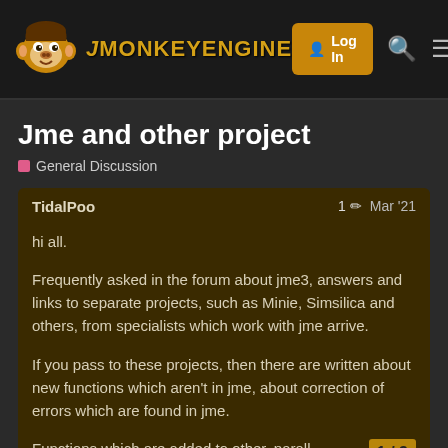jMonkeyEngine — Log In
Jme and other project
General Discussion
TidalPoo   1 ✏  Mar '21
hi all.

Frequently asked in the forum about jme3, answers and links to separate projects, such as Minie, Simsilica and others, from specialists which work with jme arrive.

If you pass to these projects, then there are written about new functions which aren't in jme, about correction of errors which are found in jme.

Functions which are added to other, parallel integrated into jme?
1 / 3